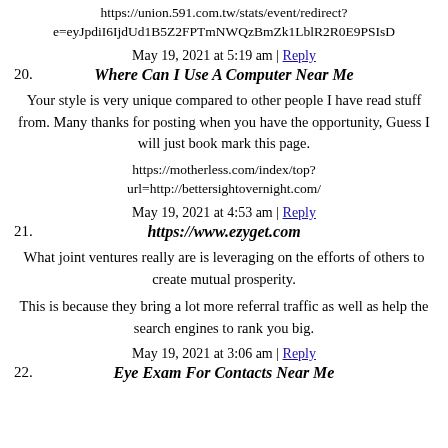https://union.591.com.tw/stats/event/redirect?e=eyJpdiI6IjdUd1B5Z2FPTmNWQzBmZk1LblR2R0E9PSIsD
May 19, 2021 at 5:19 am | Reply
20. Where Can I Use A Computer Near Me
Your style is very unique compared to other people I have read stuff from. Many thanks for posting when you have the opportunity, Guess I will just book mark this page.
https://motherless.com/index/top?url=http://bettersightovernight.com/
May 19, 2021 at 4:53 am | Reply
21. https://www.ezyget.com
What joint ventures really are is leveraging on the efforts of others to create mutual prosperity.
This is because they bring a lot more referral traffic as well as help the search engines to rank you big.
May 19, 2021 at 3:06 am | Reply
22. Eye Exam For Contacts Near Me